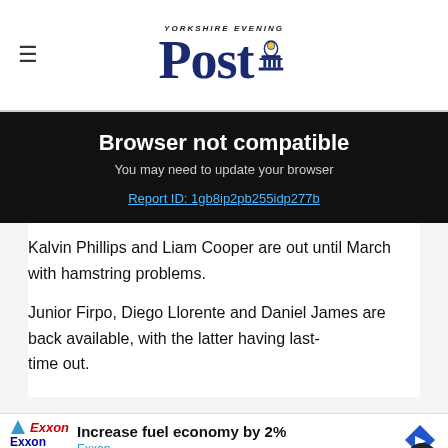Yorkshire Evening Post (logo)
Browser not compatible
You may need to update your browser
Report ID: 1gb8ip2pb255idp277b
Kalvin Phillips and Liam Cooper are out until March with hamstring problems.
Junior Firpo, Diego Llorente and Daniel James are back available, with the latter having last-time out.
[Figure (screenshot): Exxon advertisement banner: Increase fuel economy by 2%]
50% off an annual sports digital subscription